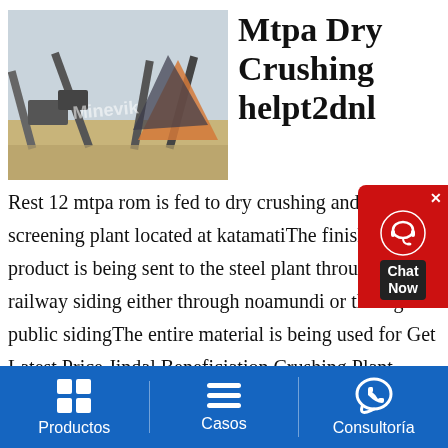[Figure (photo): Outdoor industrial crushing/screening plant with conveyor belts and heavy machinery, watermarked 'Minevik']
Mtpa Dry Crushing helpt2dnl
Rest 12 mtpa rom is fed to dry crushing and screening plant located at katamatiThe finished product is being sent to the steel plant through railway siding either through noamundi or through public sidingThe entire material is being used for Get Latest Price Jindal Beneficiation Crushing Plant Barbil Contact Details Iron ore crushing grinding plant at barbilGehl hammer mill crusher· Raw Material Quantity (MTPA) Source Raw Coal 12 SECL, Bilaspur (through linkage / Eauction
Productos   Casos   Consultoría